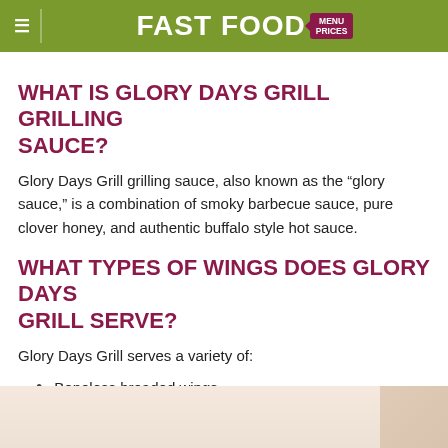FAST FOOD MENU PRICES
WHAT IS GLORY DAYS GRILL GRILLING SAUCE?
Glory Days Grill grilling sauce, also known as the “glory sauce,” is a combination of smoky barbecue sauce, pure clover honey, and authentic buffalo style hot sauce.
WHAT TYPES OF WINGS DOES GLORY DAYS GRILL SERVE?
Glory Days Grill serves a variety of:
Boneless breaded wings
Traditional bone-in wings
Boneless grilled wings
[Figure (photo): Bottom strip showing a partial food photo, cream/beige colored background suggesting a plate or bowl of food]